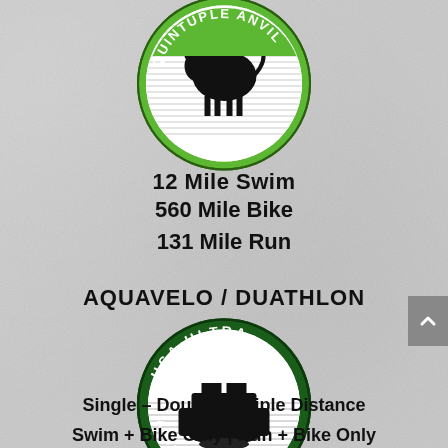[Figure (logo): Quintuple Anvil triathlon logo — circular green badge with a black cow silhouette and text 'QUINTUPLE ANVIL' around the border, horizontal stripe pattern]
12 Mile Swim
560 Mile Bike
131 Mile Run
AQUAVELO / DUATHLON
[Figure (logo): USA Ultra Aquavelo/Duathlon logo — circular dark green badge with a black anvil silhouette and text 'USA ULTRA' at top and 'AQUAVELO/DUATHLON' at bottom, horizontal stripe pattern]
Single – Double – Triple Distance
Swim + Bike Only | Run + Bike Only